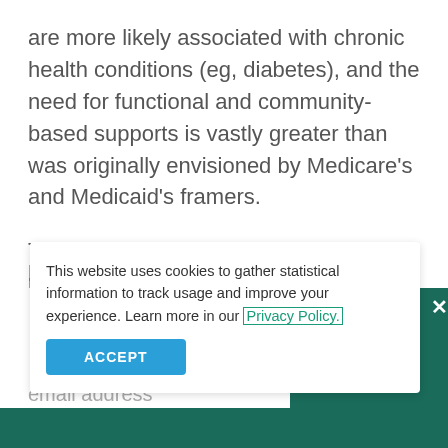are more likely associated with chronic health conditions (eg, diabetes), and the need for functional and community-based supports is vastly greater than was originally envisioned by Medicare's and Medicaid's framers.
Today Medicaid and personal out-of-pocket spending are the top payers for long-term services and supports in the United States. Private long-term care insurance has never held more than 8% of the market, and Medicare
This website uses cookies to gather statistical information to track usage and improve your experience. Learn more in our Privacy Policy.
ACCEPT